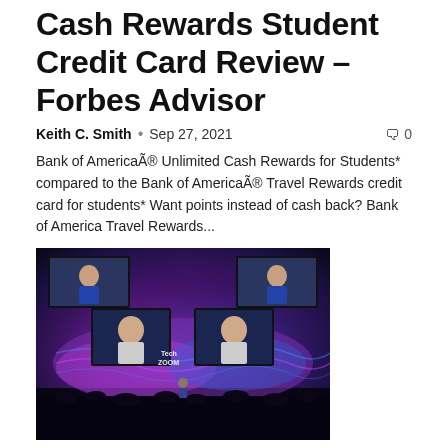Cash Rewards Student Credit Card Review – Forbes Advisor
Keith C. Smith  •  Sep 27, 2021    🗨 0
Bank of America® Unlimited Cash Rewards for Students* compared to the Bank of America® Travel Rewards credit card for students* Want points instead of cash back? Bank of America Travel Rewards...
[Figure (photo): Conference stage with large screens showing a person being interviewed, colorful purple/blue lighting and crowd silhouettes, Tech Zoom branding visible]
Musk and Elkann agree on human-powered Ferraris